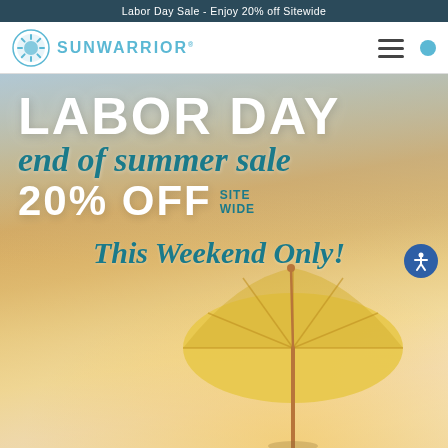Labor Day Sale - Enjoy 20% off Sitewide
[Figure (logo): Sunwarrior logo with circular sun/wave emblem and brand name SUNWARRIOR in blue text]
[Figure (photo): Labor Day end of summer sale promotional banner. Text reads: LABOR DAY, end of summer sale, 20% OFF SITE WIDE, This Weekend Only! Background shows a warm golden beach scene with a yellow beach umbrella in the lower portion.]